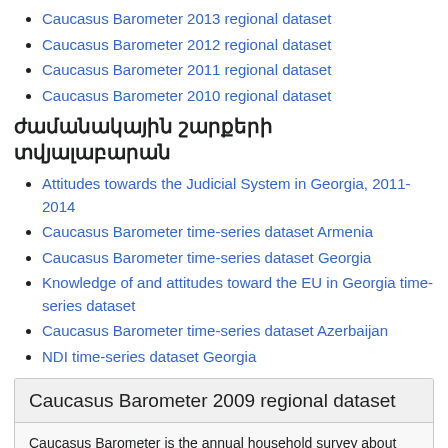Caucasus Barometer 2013 regional dataset
Caucasus Barometer 2012 regional dataset
Caucasus Barometer 2011 regional dataset
Caucasus Barometer 2010 regional dataset
ժամանակային շարքերի տվյալաբարան
Attitudes towards the Judicial System in Georgia, 2011-2014
Caucasus Barometer time-series dataset Armenia
Caucasus Barometer time-series dataset Georgia
Knowledge of and attitudes toward the EU in Georgia time-series dataset
Caucasus Barometer time-series dataset Azerbaijan
NDI time-series dataset Georgia
Caucasus Barometer 2009 regional dataset
Caucasus Barometer is the annual household survey about social economic issues and political attitudes conducted by CRRC.
Countries: Armenia Azerbaijan Georgia
Fieldwork Dates: September 4 2009 to November 13 2009
Caucasus Barometer ...